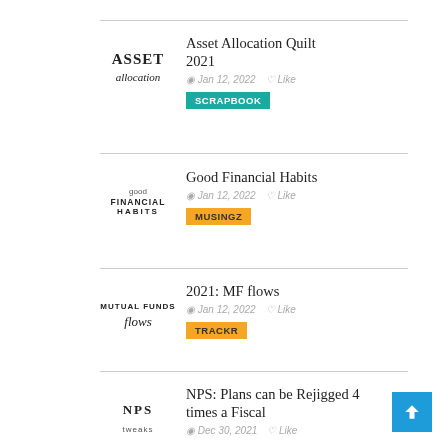Asset Allocation Quilt 2021 — Jan 12, 2022 — Like — SCRAPBOOK
Good Financial Habits — Jan 12, 2022 — Like — MUSINGZ
2021: MF flows — Jan 12, 2022 — Like — TRACKR
NPS: Plans can be Rejigged 4 times a Fiscal — Dec 30, 2021 — Like